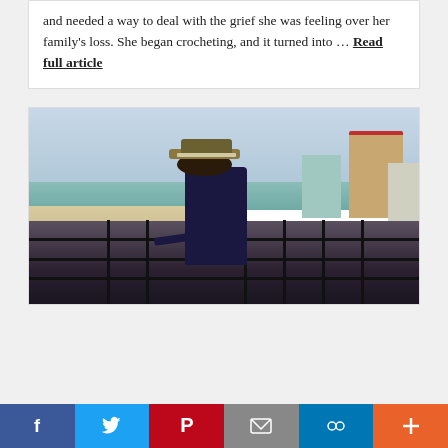and needed a way to deal with the grief she was feeling over her family's loss. She began crocheting, and it turned into … Read full article
[Figure (photo): A young child wearing a straw hat leans on a railing of a balcony overlooking a beach and ocean, with tall buildings visible in the background on a hazy day.]
[Figure (infographic): Social media sharing bar with buttons for Facebook (blue), Twitter (light blue), Pinterest (red), Email (gray), Link/Copy (blue), and More/Plus (orange).]